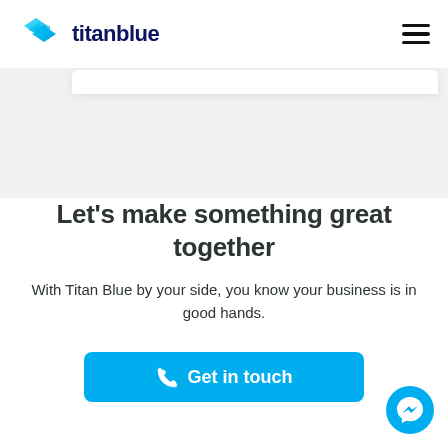[Figure (logo): Titanblue logo with teal/cyan diamond arrow icon and dark navy text 'titanblue']
[Figure (illustration): Hamburger menu icon (three horizontal lines) in the top right corner]
[Figure (screenshot): Gray background section with a partial white card/panel at the top, representing a cropped webpage hero section]
Let's make something great together
With Titan Blue by your side, you know your business is in good hands.
[Figure (illustration): Cyan/blue rounded rectangle CTA button labeled 'Get in touch' with a phone icon]
[Figure (illustration): Facebook Messenger chat bubble icon, circular cyan button in bottom right corner]